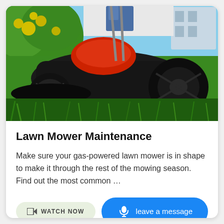[Figure (photo): Close-up ground-level photo of a black gas-powered push lawn mower with red top, large black wheels, driving over bright green grass. Yellow flowering bushes in background top left, blue sky and light grey building top right, person visible at top center-right.]
Lawn Mower Maintenance
Make sure your gas-powered lawn mower is in shape to make it through the rest of the mowing season. Find out the most common …
WATCH NOW
leave a message